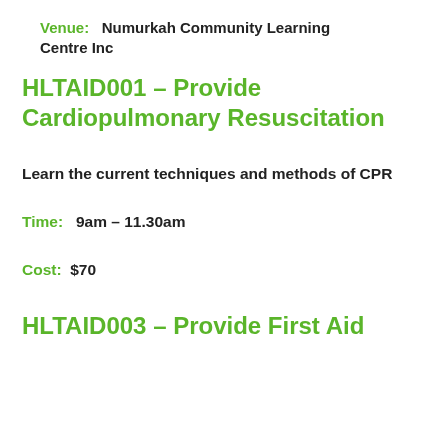Venue: Numurkah Community Learning Centre Inc
HLTAID001 – Provide Cardiopulmonary Resuscitation
Learn the current techniques and methods of CPR
Time: 9am – 11.30am
Cost: $70
HLTAID003 – Provide First Aid